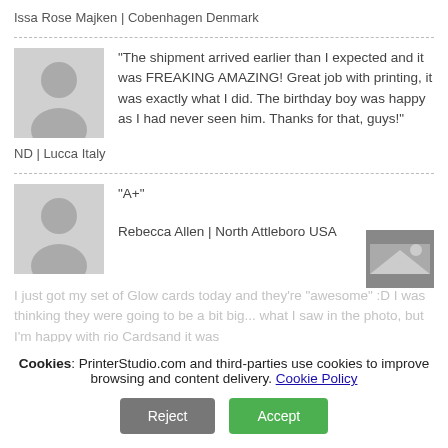Issa Rose Majken | Cobenhangen Denmark
"The shipment arrived earlier than I expected and it was FREAKING AMAZING! Great job with printing, it was exactly what I did. The birthday boy was happy as I had never seen him. Thanks for that, guys!"
ND | Lucca Italy
"A+"
Rebecca Allen | North Attleboro USA
Cookies: PrinterStudio.com and third-parties use cookies to improve browsing and content delivery. Cookie Policy
I just got my set of Glow cards today and they're "awesome" :D I was thinking they were going to be a bit big... what I saw in the photo, but I'm happy with rio Cardsand it was